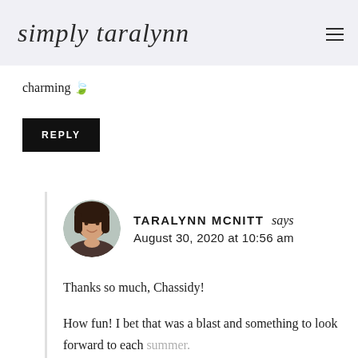simply taralynn
charming 🌿
REPLY
[Figure (photo): Circular avatar photo of Taralynn McNitt, a woman with dark brown hair, smiling]
TARALYNN MCNITT says
August 30, 2020 at 10:56 am
Thanks so much, Chassidy!
How fun! I bet that was a blast and something to look forward to each summer.